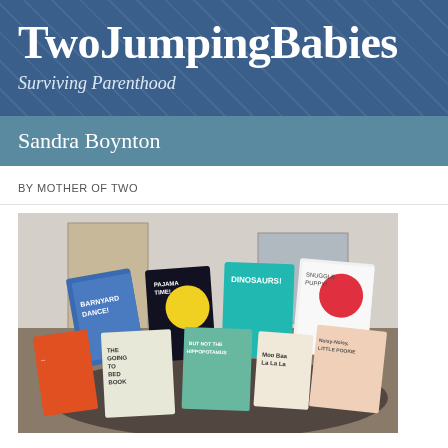TwoJumpingBabies
Surviving Parenthood
Sandra Boynton
BY MOTHER OF TWO
[Figure (photo): A collection of Sandra Boynton children's board books displayed on a floor, including titles: Barnyard Dance, Pajama Time!, Dinosaurs!, Snuggle Puppy!, The Going-To-Bed Book, But Not the Hippopotamus, Moo Baa La La La, and Noisy-Noisy, Little Pookie, among others.]